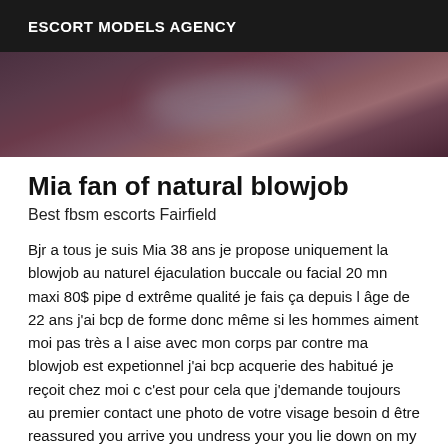ESCORT MODELS AGENCY
[Figure (photo): Dark close-up photo with purple/maroon tones, appears to be a partial body image]
Mia fan of natural blowjob
Best fbsm escorts Fairfield
Bjr a tous je suis Mia 38 ans je propose uniquement la blowjob au naturel éjaculation buccale ou facial 20 mn maxi 80$ pipe d extrême qualité je fais ça depuis l âge de 22 ans j'ai bcp de forme donc même si les hommes aiment moi pas très a l aise avec mon corps par contre ma blowjob est expetionnel j'ai bcp acquerie des habitué je reçoit chez moi c c'est pour cela que j'demande toujours au premier contact une photo de votre visage besoin d être reassured you arrive you undress your you lie down on my click clac and it is gone the turn of carousel begins you will be entirely satisfied or refunded lol I await you before leaving this I have a beautiful face I